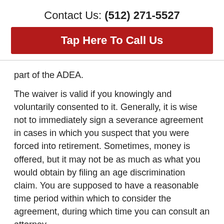Contact Us: (512) 271-5527
Tap Here To Call Us
part of the ADEA.
The waiver is valid if you knowingly and voluntarily consented to it. Generally, it is wise not to immediately sign a severance agreement in cases in which you suspect that you were forced into retirement. Sometimes, money is offered, but it may not be as much as what you would obtain by filing an age discrimination claim. You are supposed to have a reasonable time period within which to consider the agreement, during which time you can consult an attorney.
Discuss Your Age Discrimination Claim with an Austin Lawyer